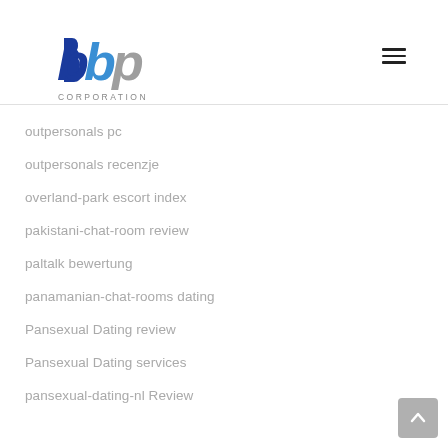[Figure (logo): BBP Corporation logo with blue and grey interlocking letters and 'CORPORATION' text below]
outpersonals pc
outpersonals recenzje
overland-park escort index
pakistani-chat-room review
paltalk bewertung
panamanian-chat-rooms dating
Pansexual Dating review
Pansexual Dating services
pansexual-dating-nl Review